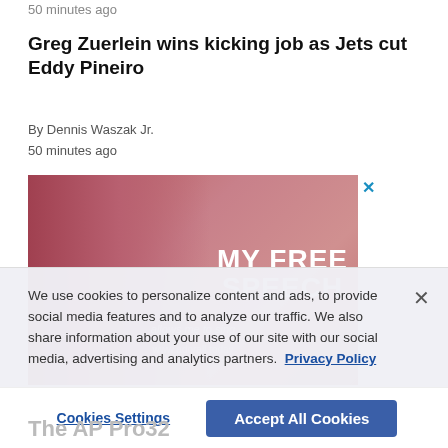50 minutes ago
Greg Zuerlein wins kicking job as Jets cut Eddy Pineiro
By Dennis Waszak Jr.
50 minutes ago
[Figure (photo): Advertisement image showing a woman with long hair against a pink/red background with text 'MY FREE SPEECH allows me to sing' and URL www.adorall.today, with a blue X close button]
We use cookies to personalize content and ads, to provide social media features and to analyze our traffic. We also share information about your use of our site with our social media, advertising and analytics partners.  Privacy Policy
Cookies Settings
Accept All Cookies
The AP Pro32